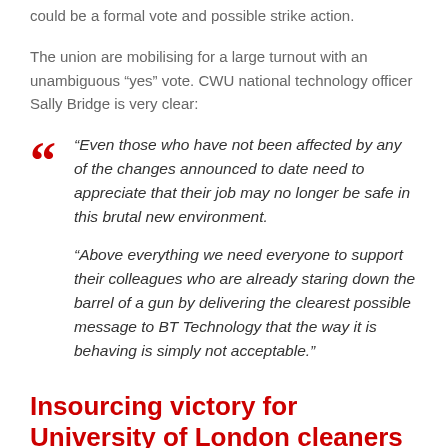could be a formal vote and possible strike action.
The union are mobilising for a large turnout with an unambiguous “yes” vote. CWU national technology officer Sally Bridge is very clear:
“Even those who have not been affected by any of the changes announced to date need to appreciate that their job may no longer be safe in this brutal new environment.

“Above everything we need everyone to support their colleagues who are already staring down the barrel of a gun by delivering the clearest possible message to BT Technology that the way it is behaving is simply not acceptable.”
Insourcing victory for University of London cleaners